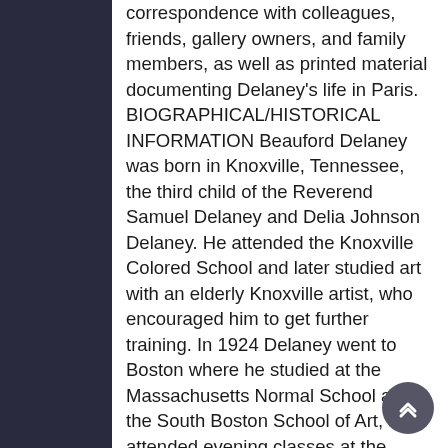correspondence with colleagues, friends, gallery owners, and family members, as well as printed material documenting Delaney's life in Paris. BIOGRAPHICAL/HISTORICAL INFORMATION Beauford Delaney was born in Knoxville, Tennessee, the third child of the Reverend Samuel Delaney and Delia Johnson Delaney. He attended the Knoxville Colored School and later studied art with an elderly Knoxville artist, who encouraged him to get further training. In 1924 Delaney went to Boston where he studied at the Massachusetts Normal School and the South Boston School of Art, and attended evening classes at the Copley Society. Delaney went to New York in 1929, settling at first in Harlem. He painted society women and professional dancers at Billy Pierce's dancing school on West 46th Street, which gained him a reputation as a portraitist. His first one-man show, which consisted of five pastels and ten charcoal drawings, was at the 135th Street Branch Library of the New York Public Library in 1930. During the same year three of his portraits were included in a group show at the Whitney Studio Galleries, the predecessor of the Whitney Museum of American Art.